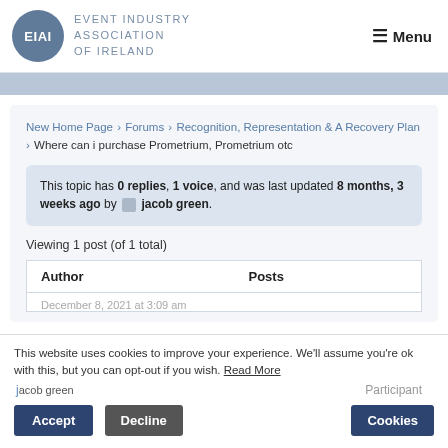EIAI Event Industry Association of Ireland | Menu
New Home Page › Forums › Recognition, Representation & A Recovery Plan › Where can i purchase Prometrium, Prometrium otc
This topic has 0 replies, 1 voice, and was last updated 8 months, 3 weeks ago by jacob green.
Viewing 1 post (of 1 total)
| Author | Posts |
| --- | --- |
| December 8, 2021 at 3:09 am |  |
| jacob green | Participant |
This website uses cookies to improve your experience. We'll assume you're ok with this, but you can opt-out if you wish. Read More